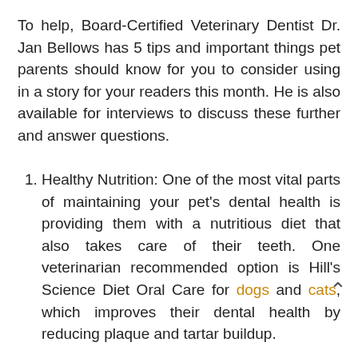To help, Board-Certified Veterinary Dentist Dr. Jan Bellows has 5 tips and important things pet parents should know for you to consider using in a story for your readers this month. He is also available for interviews to discuss these further and answer questions.
Healthy Nutrition: One of the most vital parts of maintaining your pet's dental health is providing them with a nutritious diet that also takes care of their teeth. One veterinarian recommended option is Hill's Science Diet Oral Care for dogs and cats, which improves their dental health by reducing plaque and tartar buildup.
Daily Brushing: To help prevent gum disease and other dental problems, pet parents should brush their dog or cat's teeth every day. And...